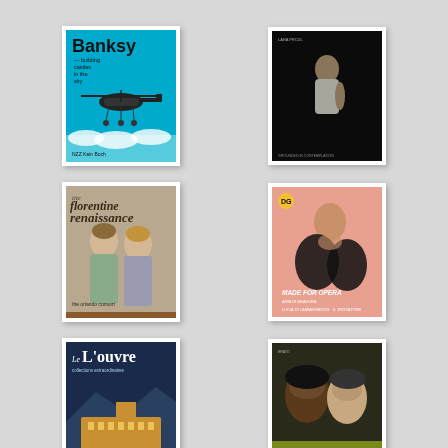[Figure (illustration): Album/book cover: Banksy - building castles in the sky. Blue background with military helicopter illustration and bold black text. Published by NZZ/Kein Buch.]
[Figure (photo): Music album cover: dark background with a person in white top looking upward, dramatic lighting.]
[Figure (illustration): Music album cover: The Florentine Renaissance by Orlando Consort. Features Renaissance painting detail of two women figures in soft colors.]
[Figure (photo): Music album cover: Made for Opera. Peach/salmon background with a woman performer in black feathered outfit. Deutsche Grammophon label.]
[Figure (photo): Book/magazine cover: Le Louvre. Night photograph of the Louvre museum illuminated in golden light with a river in foreground.]
[Figure (photo): Music album cover: Cyrielle Ndjiki and Kaoli Ono - Muses éternelles. Two women facing camera against dark background with yellow/green tones at bottom.]